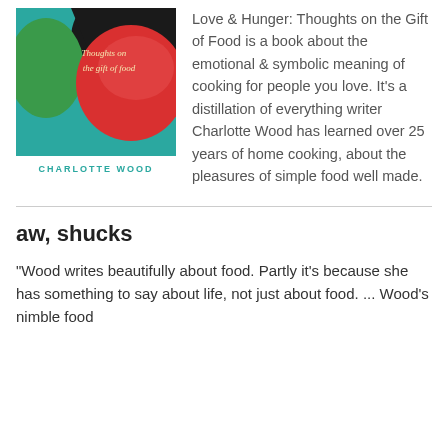[Figure (illustration): Book cover of 'Love & Hunger: Thoughts on the Gift of Food' by Charlotte Wood, featuring colorful abstract shapes in teal, red, green and black with script and sans-serif text.]
Love & Hunger: Thoughts on the Gift of Food is a book about the emotional & symbolic meaning of cooking for people you love. It's a distillation of everything writer Charlotte Wood has learned over 25 years of home cooking, about the pleasures of simple food well made.
aw, shucks
"Wood writes beautifully about food. Partly it's because she has something to say about life, not just about food. ... Wood's nimble food